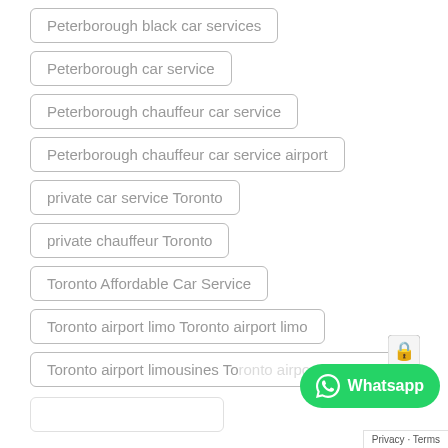Peterborough black car services
Peterborough car service
Peterborough chauffeur car service
Peterborough chauffeur car service airport
private car service Toronto
private chauffeur Toronto
Toronto Affordable Car Service
Toronto airport limo Toronto airport limo
Toronto airport limousines Toronto airport limousine
[Figure (screenshot): WhatsApp floating chat button (green, bottom right) and reCAPTCHA icon]
Privacy · Terms